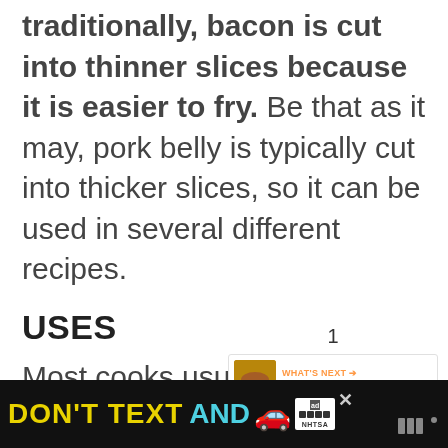traditionally, bacon is cut into thinner slices because it is easier to fry. Be that as it may, pork belly is typically cut into thicker slices, so it can be used in several different recipes.
USES
Most cooks usually fry thin-cut bacon in a shallow pan. In its fried state, bacon can be eaten as is, or it can be
[Figure (screenshot): UI overlay: heart/like button (blue circle), share count badge showing '1', circular share button with gold border, and a 'What's Next' recommendation showing 'The 7 Best BBQ in...']
[Figure (screenshot): Ad banner at bottom: black background with yellow 'DON'T TEXT' and cyan 'AND' text, car emoji, ad badge, NHTSA logo, and close X button. Wi logo on right.]